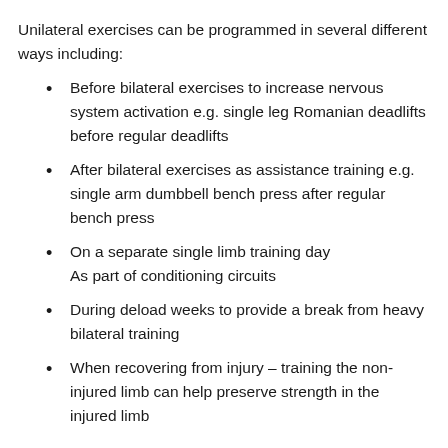Unilateral exercises can be programmed in several different ways including:
Before bilateral exercises to increase nervous system activation e.g. single leg Romanian deadlifts before regular deadlifts
After bilateral exercises as assistance training e.g. single arm dumbbell bench press after regular bench press
On a separate single limb training day
As part of conditioning circuits
During deload weeks to provide a break from heavy bilateral training
When recovering from injury – training the non-injured limb can help preserve strength in the injured limb